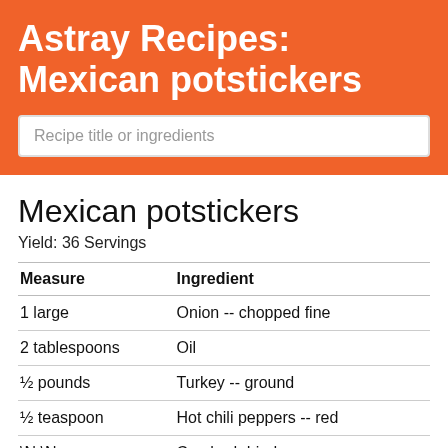Astray Recipes: Mexican potstickers
Recipe title or ingredients
Mexican potstickers
Yield: 36 Servings
| Measure | Ingredient |
| --- | --- |
| 1 large | Onion -- chopped fine |
| 2 tablespoons | Oil |
| ½ pounds | Turkey -- ground |
| ½ teaspoon | Hot chili peppers -- red |
| \N \N | Crushed dried |
| ½ teaspoon | Ground cumin |